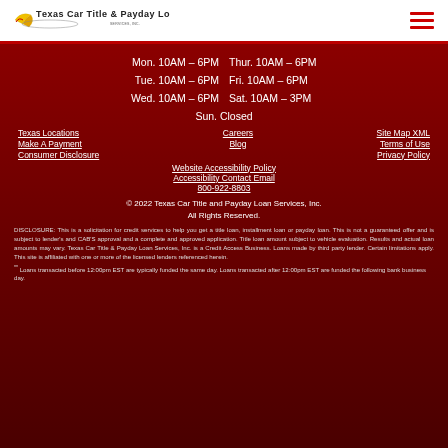[Figure (logo): Texas Car Title & Payday Loan Services, Inc. logo with yellow bird/boomerang graphic]
Mon. 10AM – 6PM
Tue. 10AM – 6PM
Wed. 10AM – 6PM
Thur. 10AM – 6PM
Fri. 10AM – 6PM
Sat. 10AM – 3PM
Sun. Closed
Texas Locations
Make A Payment
Consumer Disclosure
Careers
Blog
Site Map XML
Terms of Use
Privacy Policy
Website Accessibility Policy
Accessibility Contact Email
800-922-8803
© 2022 Texas Car Title and Payday Loan Services, Inc.
All Rights Reserved.
DISCLOSURE: This is a solicitation for credit services to help you get a title loan, installment loan or payday loan. This is not a guaranteed offer and is subject to lender's and CAB'S approval and a complete and approved application. Title loan amount subject to vehicle evaluation. Results and actual loan amounts may vary. Texas Car Title & Payday Loan Services, Inc. is a Credit Access Business. Loans made by third party lender. Certain limitations apply. This site is affiliated with one or more of the licensed lenders referenced herein.
** Loans transacted before 12:00pm EST are typically funded the same day. Loans transacted after 12:00pm EST are funded the following bank business day.